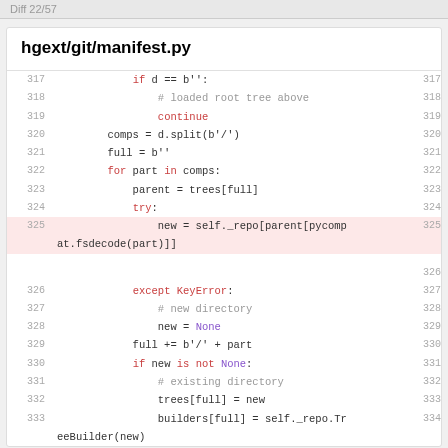Diff 22/57
hgext/git/manifest.py
Code block showing Python source lines 317-333 with line numbers and syntax highlighting